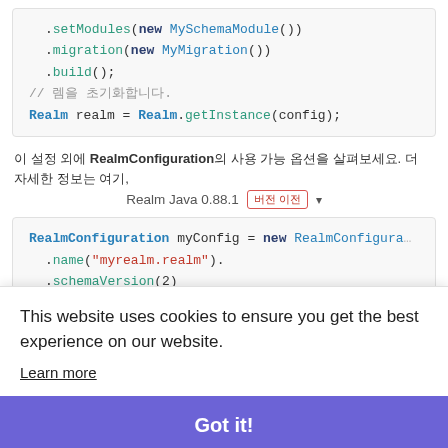[Figure (screenshot): Code block showing .setModules(new MySchemaModule()), .migration(new MyMigration()), .build(); // 렘 초기화. Realm realm = Realm.getInstance(config);]
이 설정 외에 RealmConfiguration의 사용 가능 옵션을 살펴보세요. 더 자세한 정보는 여기,
Realm Java 0.88.1 버전 이전 ▾
[Figure (screenshot): Code block showing RealmConfiguration myConfig = new RealmConfiguration .name("myrealm.realm"). .schemaVersion(2) ... with cookie overlay and Got it! button]
This website uses cookies to ensure you get the best experience on our website.
Learn more
Got it!
[Figure (screenshot): Bottom code lines: Realm myRealm = Realm.getInstance(myConfig); Realm otherRealm = Realm.getInstance(otherConfig]